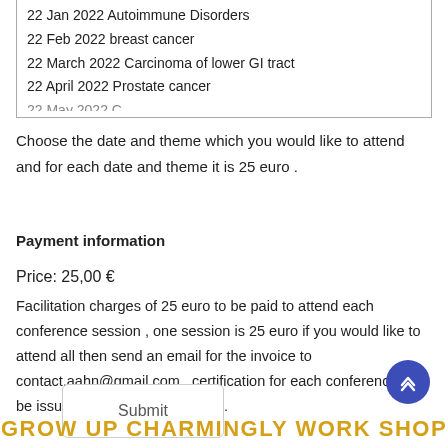22 Jan 2022 Autoimmune Disorders
22 Feb 2022 breast cancer
22 March 2022 Carcinoma of lower GI tract
22 April 2022 Prostate cancer
Choose the date and theme which you would like to attend and for each date and theme it is 25 euro .
Payment information
Price: 25,00 €
Facilitation charges of 25 euro to be paid to attend each conference session , one session is 25 euro if you would like to attend all then send an email for the invoice to contact.aahn@gmail.com , certification for each conference will be issued with a cost of 50 euro .
Submit
GROW UP CHARMINGLY WORK SHOP